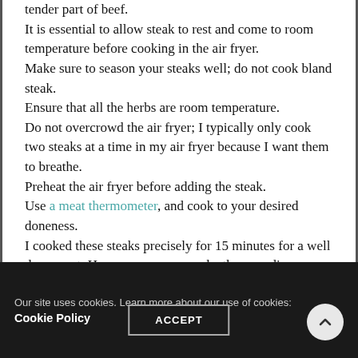tender part of beef. It is essential to allow steak to rest and come to room temperature before cooking in the air fryer. Make sure to season your steaks well; do not cook bland steak. Ensure that all the herbs are room temperature. Do not overcrowd the air fryer; I typically only cook two steaks at a time in my air fryer because I want them to breathe. Preheat the air fryer before adding the steak. Use a meat thermometer, and cook to your desired doneness. I cooked these steaks precisely for 15 minutes for a well done meat. However, you can make them medium or medium-rare as you choose. Set the air fryer for 10 minutes to cook them medium-rare. On the other hand, set the air
Our site uses cookies. Learn more about our use of cookies: Cookie Policy [ACCEPT button]